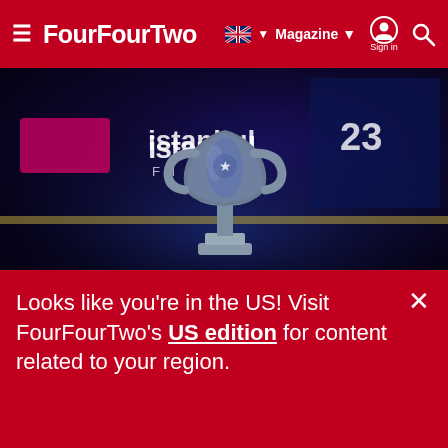FourFourTwo — Magazine | Sign in
[Figure (photo): Champions League trophy on a dark blue/purple stage background with Istanbul 2023 Final branding text visible]
Champions League 2022/23 groups revealed: who Europe's big beasts will face to reach the knockouts
Liverpool will face Rangers in the Champions League
Looks like you're in the US! Visit FourFourTwo's US edition for content related to your region.